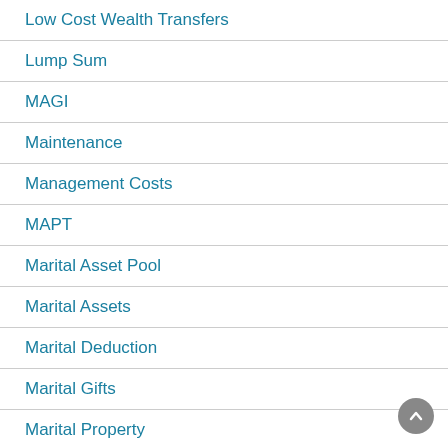Low Cost Wealth Transfers
Lump Sum
MAGI
Maintenance
Management Costs
MAPT
Marital Asset Pool
Marital Assets
Marital Deduction
Marital Gifts
Marital Property
Marital Trust
Marriage